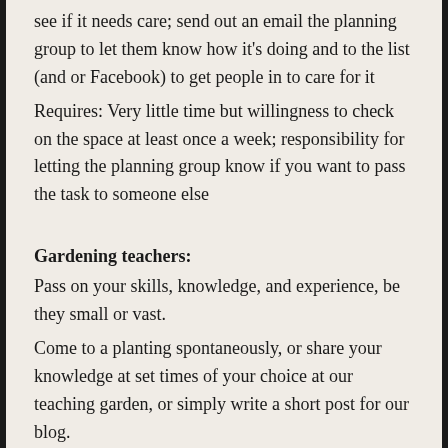see if it needs care; send out an email the planning group to let them know how it's doing and to the list (and or Facebook) to get people in to care for it
Requires: Very little time but willingness to check on the space at least once a week; responsibility for letting the planning group know if you want to pass the task to someone else
Gardening teachers:
Pass on your skills, knowledge, and experience, be they small or vast.
Come to a planting spontaneously, or share your knowledge at set times of your choice at our teaching garden, or simply write a short post for our blog.
What you get out of it: The satisfaction of sharing